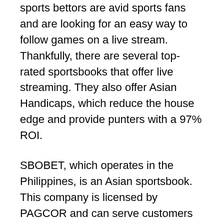sports bettors are avid sports fans and are looking for an easy way to follow games on a live stream. Thankfully, there are several top-rated sportsbooks that offer live streaming. They also offer Asian Handicaps, which reduce the house edge and provide punters with a 97% ROI.
SBOBET, which operates in the Philippines, is an Asian sportsbook. This company is licensed by PAGCOR and can serve customers from many countries. However, it is primarily focused on its live betting package. It also offers many benefits to sports bettors, including real-time line updates and the ability to capitalize on an event that has already started. Therefore, SBOBET offers a great betting experience for Asian bettors, and it's a safe bet that this book will meet your needs.
Betfair is a top choice for high rollers and provides a wide range of betting markets. It offers live streaming and in-play betting for some games. It also offers fee-